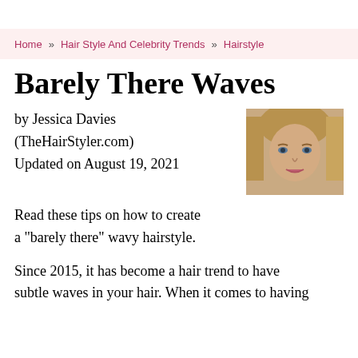Home » Hair Style And Celebrity Trends » Hairstyle
Barely There Waves
by Jessica Davies (TheHairStyler.com)
Updated on August 19, 2021
[Figure (photo): Portrait photo of a woman with barely-there wavy blonde hair]
Read these tips on how to create a "barely there" wavy hairstyle.
Since 2015, it has become a hair trend to have subtle waves in your hair. When it comes to having